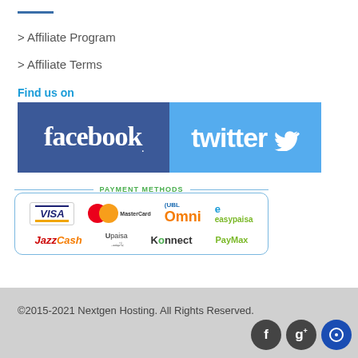> Affiliate Program
> Affiliate Terms
Find us on
[Figure (logo): Facebook and Twitter social media logos side by side]
[Figure (infographic): Payment Methods box showing Visa, MasterCard, UBL Omni, EasyPaisa, JazzCash, Upaisa, Konnect, PayMax logos]
©2015-2021 Nextgen Hosting. All Rights Reserved.